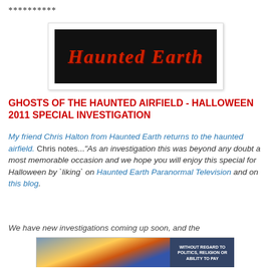**********
[Figure (logo): Haunted Earth logo: red stylized gothic text on black background]
GHOSTS OF THE HAUNTED AIRFIELD - HALLOWEEN 2011 SPECIAL INVESTIGATION
My friend Chris Halton from Haunted Earth returns to the haunted airfield. Chris notes..."As an investigation this was beyond any doubt a most memorable occasion and we hope you will enjoy this special for Halloween by `liking` on Haunted Earth Paranormal Television and on this blog.
We have new investigations coming up soon, and the
[Figure (photo): Airplane on tarmac with cargo loading, advertisement banner with text WITHOUT REGARD TO POLITICS, RELIGION OR ABILITY TO PAY]